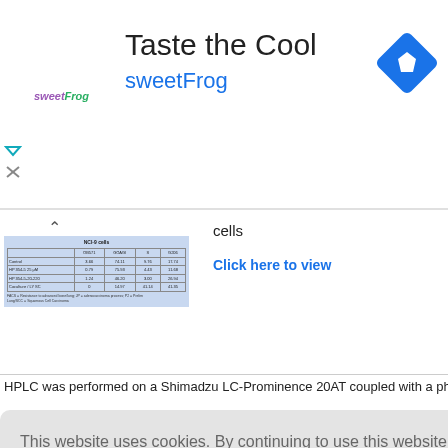[Figure (other): Advertisement banner for sweetFrog frozen yogurt. Shows 'Taste the Cool' headline, sweetFrog logo and name in blue, and a blue navigation/direction diamond icon on the right.]
[Figure (table-as-image): Thumbnail/preview of a data table showing NCI-9 cells data with columns including OB571, GOAGI, S, G206 and rows for various conditions including Control, HP 354-5 25 μM, HP 354-5-20-220, Coculture / LY SC. Footnote mentions FACS, Resistance to advanced bone/lung, JP, adenocarcinoma process, P2, Prelim, Lung/SCC, Squamous Cell Carcinoma.]
cells
Click here to view
HPLC was performed on a Shimadzu LC-Prominence 20AT coupled with a photo
This website uses cookies. By continuing to use this website you are giving consent to cookies being used. For information on cookies and how you can disable them visit our
Privacy and Cookie Policy.
AGREE & PROCEED
onditions: M
ne serum (F
and 320 μg
control. Aft
with JP, 100 μl/well of the 3 (4,5dimethylthiazol2yl) 2,5 diphenyltetrazolium bromide